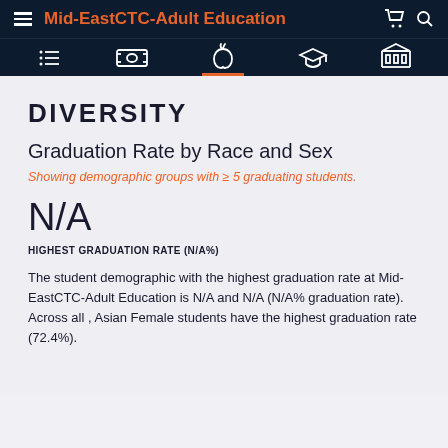Mid-EastCTC-Adult Education
DIVERSITY
Graduation Rate by Race and Sex
Showing demographic groups with ≥ 5 graduating students.
N/A
HIGHEST GRADUATION RATE (N/A%)
The student demographic with the highest graduation rate at Mid-EastCTC-Adult Education is N/A and N/A (N/A% graduation rate). Across all , Asian Female students have the highest graduation rate (72.4%).